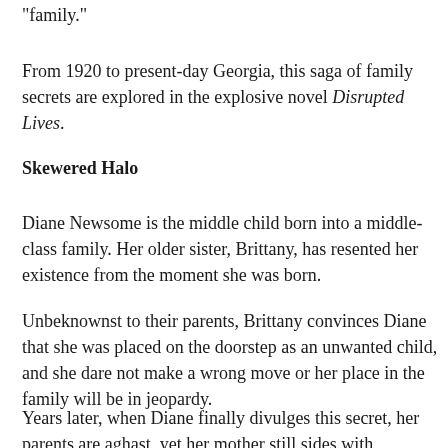"family."
From 1920 to present-day Georgia, this saga of family secrets are explored in the explosive novel Disrupted Lives.
Skewered Halo
Diane Newsome is the middle child born into a middle-class family. Her older sister, Brittany, has resented her existence from the moment she was born.
Unbeknownst to their parents, Brittany convinces Diane that she was placed on the doorstep as an unwanted child, and she dare not make a wrong move or her place in the family will be in jeopardy.
Years later, when Diane finally divulges this secret, her parents are aghast, yet her mother still sides with Brittany, even though Diane had children.